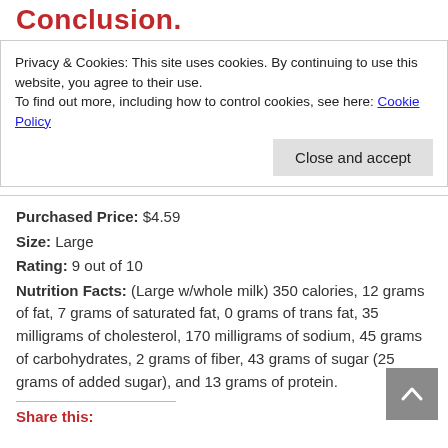Conclusion.
Privacy & Cookies: This site uses cookies. By continuing to use this website, you agree to their use.
To find out more, including how to control cookies, see here: Cookie Policy
Close and accept
Purchased Price: $4.59
Size: Large
Rating: 9 out of 10
Nutrition Facts: (Large w/whole milk) 350 calories, 12 grams of fat, 7 grams of saturated fat, 0 grams of trans fat, 35 milligrams of cholesterol, 170 milligrams of sodium, 45 grams of carbohydrates, 2 grams of fiber, 43 grams of sugar (25 grams of added sugar), and 13 grams of protein.
Share this: